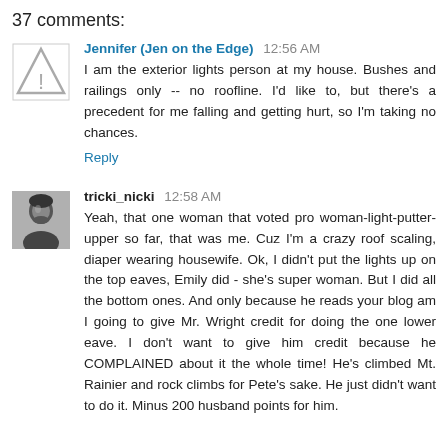37 comments:
Jennifer (Jen on the Edge)  12:56 AM
I am the exterior lights person at my house. Bushes and railings only -- no roofline. I'd like to, but there's a precedent for me falling and getting hurt, so I'm taking no chances.
Reply
tricki_nicki  12:58 AM
Yeah, that one woman that voted pro woman-light-putter-upper so far, that was me. Cuz I'm a crazy roof scaling, diaper wearing housewife. Ok, I didn't put the lights up on the top eaves, Emily did - she's super woman. But I did all the bottom ones. And only because he reads your blog am I going to give Mr. Wright credit for doing the one lower eave. I don't want to give him credit because he COMPLAINED about it the whole time! He's climbed Mt. Rainier and rock climbs for Pete's sake. He just didn't want to do it. Minus 200 husband points for him.